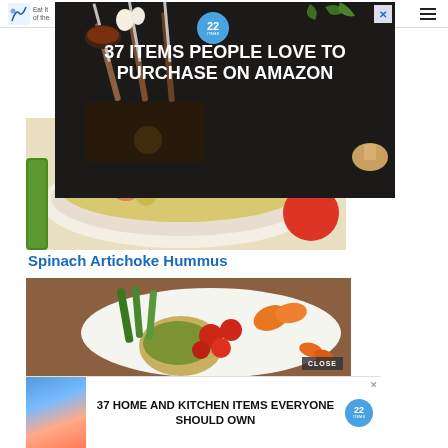[Figure (photo): Advertisement banner showing '37 ITEMS PEOPLE LOVE TO PURCHASE ON AMAZON' with kitchen knives and food items on dark background]
[Figure (photo): Food photo showing a colorful salad or dish with vegetables in a bowl]
Spinach Artichoke Hummus
[Figure (photo): Food photo showing a plate with spinach artichoke hummus served with fresh vegetables including green beans, cherry tomatoes, orange peppers, carrots and yellow squash]
[Figure (photo): Advertisement banner showing '37 HOME AND KITCHEN ITEMS EVERYONE SHOULD OWN' with storage bags image]